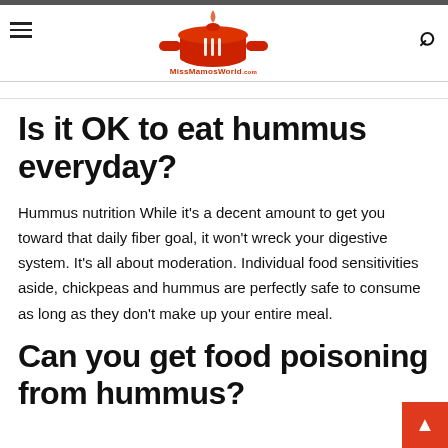MissMamosWorld.com
Is it OK to eat hummus everyday?
Hummus nutrition While it's a decent amount to get you toward that daily fiber goal, it won't wreck your digestive system. It's all about moderation. Individual food sensitivities aside, chickpeas and hummus are perfectly safe to consume as long as they don't make up your entire meal.
Can you get food poisoning from hummus?